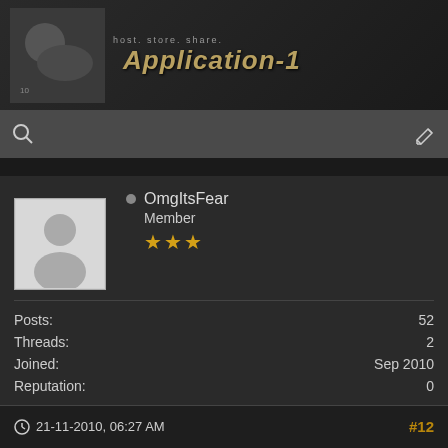[Figure (screenshot): Forum website banner with a profile/avatar image on left and text 'Application-1' with subtitle 'host. store. share.' on right against dark background]
[Figure (screenshot): Search bar with magnifying glass icon on left and pencil/edit icon on right, dark gray background]
OmgItsFear
Member
★★★
Posts: 52
Threads: 2
Joined: Sep 2010
Reputation: 0
21-11-2010, 06:27 AM  #12
i chose Maul, perfect for warriors i love strength, brute force, and warriors! BW ftw